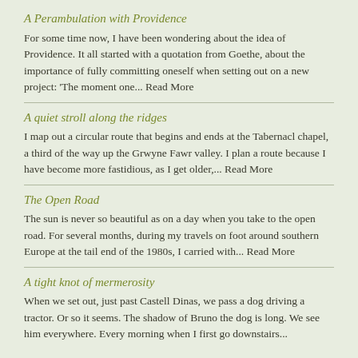A Perambulation with Providence
For some time now, I have been wondering about the idea of Providence. It all started with a quotation from Goethe, about the importance of fully committing oneself when setting out on a new project:  'The moment one... Read More
A quiet stroll along the ridges
I map out a circular route that begins and ends at the Tabernacl chapel, a third of the way up the Grwyne Fawr valley. I plan a route because I have become more fastidious, as I get older,... Read More
The Open Road
The sun is never so beautiful as on a day when you take to the open road. For several months, during my travels on foot around southern Europe at the tail end of the 1980s, I carried with... Read More
A tight knot of mermerosity
When we set out, just past Castell Dinas, we pass a dog driving a tractor. Or so it seems. The shadow of Bruno the dog is long. We see him everywhere. Every morning when I first go downstairs...